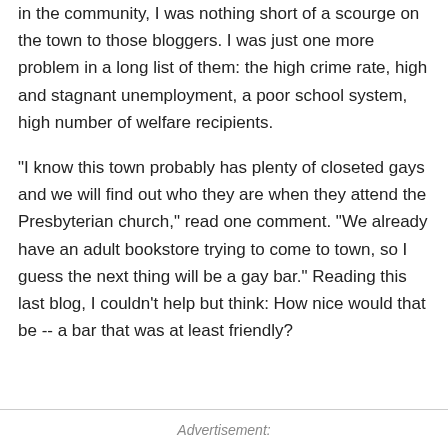in the community, I was nothing short of a scourge on the town to those bloggers. I was just one more problem in a long list of them: the high crime rate, high and stagnant unemployment, a poor school system, high number of welfare recipients.
"I know this town probably has plenty of closeted gays and we will find out who they are when they attend the Presbyterian church," read one comment. "We already have an adult bookstore trying to come to town, so I guess the next thing will be a gay bar." Reading this last blog, I couldn't help but think: How nice would that be -- a bar that was at least friendly?
Advertisement: